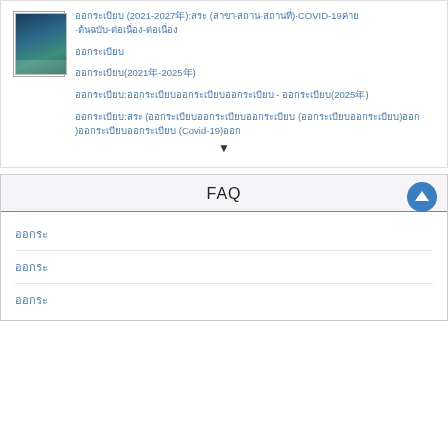[Figure (illustration): Small thumbnail image showing a dark teal/blue map or cover page graphic]
ออกระเบียบ (2021-2027年):สระ (สาขา-สถาน-สถานที่)-COVID-19ค่าย·ต้นฉบับ-ต่อเนื่อง-ต่อเนื่อง
ออกระเบียบ
ออกระเบียบ(2021年-2025年)
ออกระเบียบ:ออกระเบียบออกระเบียบออกระเบียบ - ออกระเบียบ(2025年)
ออกระเบียบ:สระ (ออกระเบียบออกระเบียบออกระเบียบ (ออกระเบียบออกระเบียบ)ออก)ออกระเบียบออกระเบียบ (Covid-19)ออก
FAQ
ออกระ
ออกระ
ออกระ